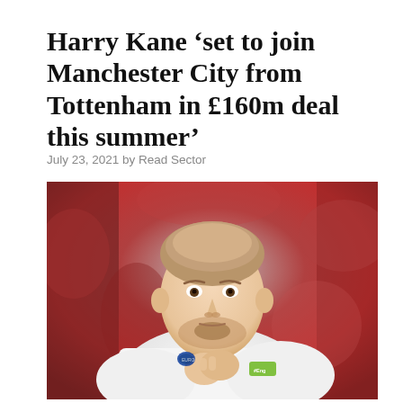Harry Kane ‘set to join Manchester City from Tottenham in £160m deal this summer’
July 23, 2021 by Read Sector
[Figure (photo): Harry Kane, England footballer, wearing a white England shirt with a green captain's armband, clapping hands together, with a red blurred crowd background]